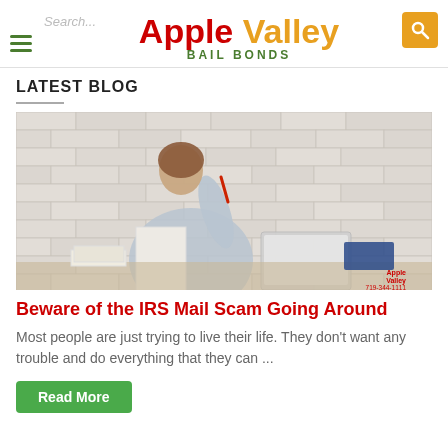Apple Valley BAIL BONDS
LATEST BLOG
[Figure (photo): Woman sitting at a desk with papers and a laptop, holding a pen up, with a white brick wall in the background. Apple Valley Bail Bonds watermark in bottom right corner.]
Beware of the IRS Mail Scam Going Around
Most people are just trying to live their life. They don't want any trouble and do everything that they can ...
Read More